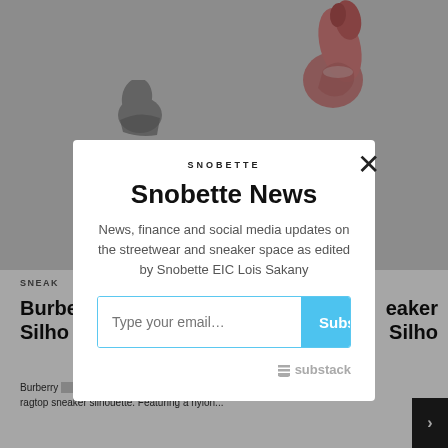[Figure (screenshot): Website screenshot showing a Snobette article page with sneaker images in the background, partially obscured by a newsletter subscription modal popup. The background shows a gray and pink sneaker image at top, and an article card below with the beginning of a Burberry sneaker article. A dark overlay covers the background. A white modal dialog is centered over the page.]
SNOBETTE
Snobette News
News, finance and social media updates on the streetwear and sneaker space as edited by Snobette EIC Lois Sakany
Type your email…
Subscribe
≡substack